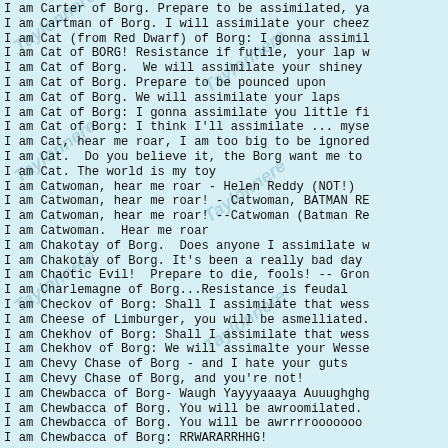I am Carter of Borg. Prepare to be assimilated, ya
I am Cartman of Borg. I will assimilate your cheez
I am Cat (from Red Dwarf) of Borg: I gonna assimil
I am Cat of BORG! Resistance if futile, your lap w
I am Cat of Borg.  We will assimilate your shiney
I am Cat of Borg. Prepare to be pounced upon
I am Cat of Borg. We will assimilate your laps
I am Cat of Borg: I gonna assimilate you little fi
I am Cat of Borg: I think I'll assimilate ... myse
I am Cat, hear me roar, I am too big to be ignored
I am Cat.  Do you believe it, the Borg want me to
I am Cat. The world is my toy
I am Catwoman, hear me roar - Helen Reddy (NOT!)
I am Catwoman, hear me roar! - Catwoman, BATMAN RE
I am Catwoman, hear me roar! --Catwoman (Batman Re
I am Catwoman.  Hear me roar
I am Chakotay of Borg.  Does anyone I assimilate w
I am Chakotay of Borg. It's been a really bad day
I am Chaotic Evil!  Prepare to die, fools! -- Gron
I am Charlemagne of Borg...Resistance is feudal
I am Checkov of Borg: Shall I assimilate that wess
I am Cheese of Limburger, you will be asmelliated.
I am Chekhov of Borg: Shall I assimilate that wess
I am Chekhov of Borg: We will assimalte your Wesse
I am Chevy Chase of Borg - and I hate your guts
I am Chevy Chase of Borg, and you're not!
I am Chewbacca of Borg- Waugh Yayyyaaaya Auuughghg
I am Chewbacca of Borg. You will be awroomilated.
I am Chewbacca of Borg. You will be awrrrrooooooo
I am Chewbacca of Borg: RRWARARRHHG!